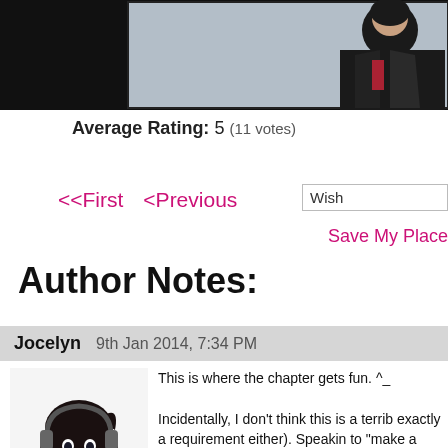[Figure (illustration): Comic panel showing a dark-clothed figure against a grey background, partially visible on the right side of a black bar]
Average Rating: 5 (11 votes)
<<First   <Previous   Wish   Save My Place
Author Notes:
Jocelyn   9th Jan 2014, 7:34 PM
[Figure (illustration): Anime-style illustration of a dark-haired girl wearing headphones and a red top with grey jacket, looking thoughtful]
This is where the chapter gets fun. ^_

Incidentally, I don't think this is a terrib (exactly a requirement either). Speaking to "make a wish," only one thought ev Vincent did... and I didn't shout out my birthday cakes either. See also stars, - back when I was a religious kid - eve Christmas list a couple times, but I was afraid my parent back, I was a naive, little kid. Or maybe just desperate. X